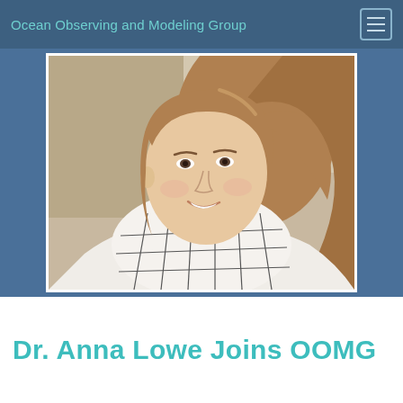Ocean Observing and Modeling Group
[Figure (photo): Portrait photo of Dr. Anna Lowe, a young woman with long wavy light brown hair, smiling, wearing a white/cream chunky knit turtleneck scarf/sweater with dark grid pattern. Background shows an outdoor urban setting.]
Dr. Anna Lowe Joins OOMG